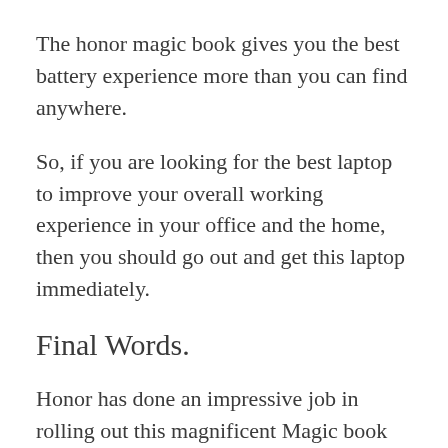The honor magic book gives you the best battery experience more than you can find anywhere.
So, if you are looking for the best laptop to improve your overall working experience in your office and the home, then you should go out and get this laptop immediately.
Final Words.
Honor has done an impressive job in rolling out this magnificent Magic book for use. So far, it has generated a lot of positive feedback from users that value great products. The honor Magicbook pro may not be the best in the market, but it most certainly helps to get your jobs done faster. SO, if you look at functionality at its peak, then